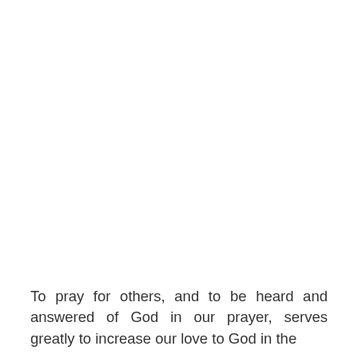To pray for others, and to be heard and answered of God in our prayer, serves greatly to increase our love to God in the